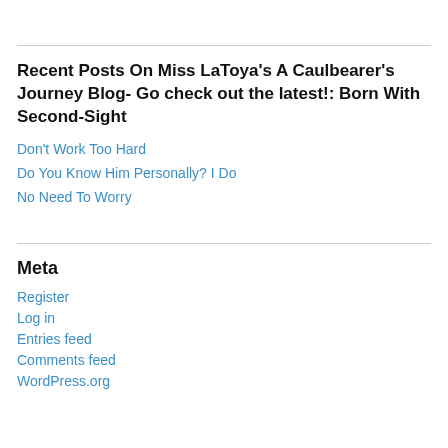Recent Posts On Miss LaToya's A Caulbearer's Journey Blog- Go check out the latest!: Born With Second-Sight
Don't Work Too Hard
Do You Know Him Personally? I Do
No Need To Worry
Meta
Register
Log in
Entries feed
Comments feed
WordPress.org